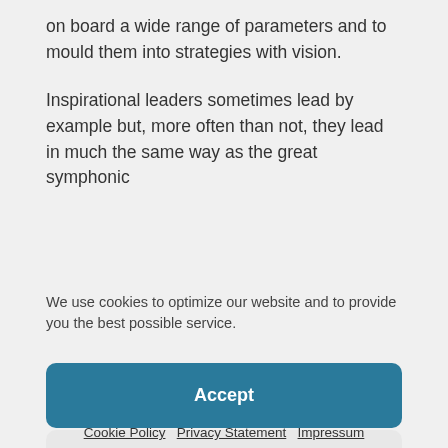on board a wide range of parameters and to mould them into strategies with vision.
Inspirational leaders sometimes lead by example but, more often than not, they lead in much the same way as the great symphonic
We use cookies to optimize our website and to provide you the best possible service.
Accept
Dismiss
Preferences
Cookie Policy   Privacy Statement   Impressum